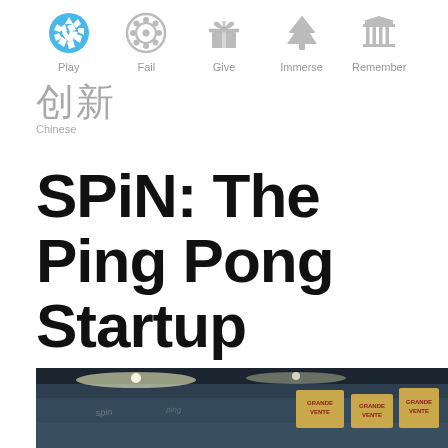[Figure (illustration): Navigation icon bar with 5 icons: Play (blue soccer ball), Fail (gray camera/reel icon), Give (gray gift box icon), Immerse (gray tree icon), Remember (gray building/columns icon), each with label underneath]
创新
Chinese
SPiN: The Ping Pong Startup
Story by Susanna Camp
September 5, 2016
[Figure (photo): Interior photo of a venue/bar with dark ceiling, spot lighting, and colorful signage in the background reading GRANDE VENTE]